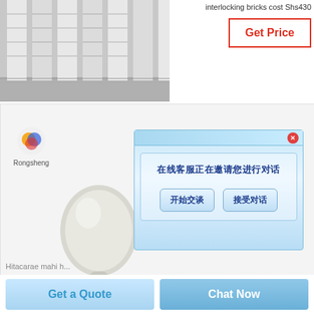interlocking bricks cost Shs430
[Figure (photo): Photo of large white interlocking brick panels/columns in an industrial setting]
[Figure (screenshot): Screenshot of Rongsheng company chat widget with popup dialog in Chinese: 在线客服正在邀请您进行对话 (Online customer service is inviting you to chat). Two buttons: 开始交谈 (Start Chat) and 接受对话 (Accept Conversation). Also shows a ceramic/refractory product image.]
[Figure (other): Get a Quote button (light blue)]
[Figure (other): Chat Now button (blue)]